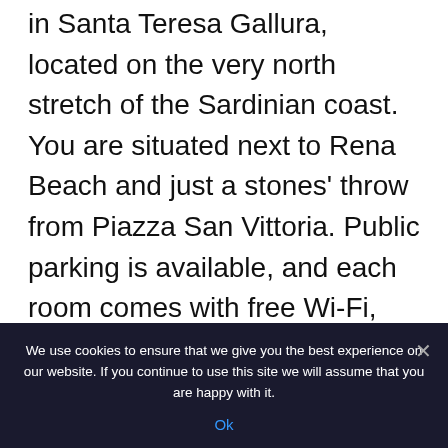in Santa Teresa Gallura, located on the very north stretch of the Sardinian coast. You are situated next to Rena Beach and just a stones' throw from Piazza San Vittoria. Public parking is available, and each room comes with free Wi-Fi, comfortable beds, and a coffee maker. These rooms feature bright colors and have a certain elegance or modern touch. You can choose between three room categories, including a spacious family room. As far as places to stay in Santa
We use cookies to ensure that we give you the best experience on our website. If you continue to use this site we will assume that you are happy with it.
Ok